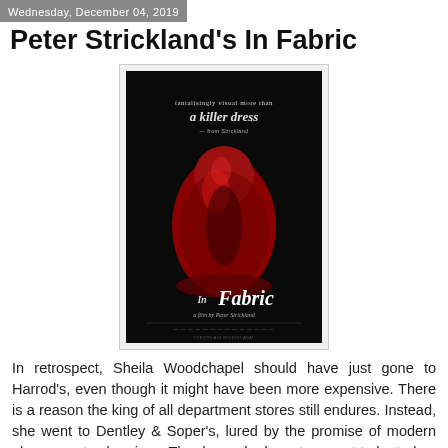Wednesday, December 04, 2019
Peter Strickland's In Fabric
[Figure (photo): Movie poster for 'In Fabric' directed by Peter Strickland. Dark background with a red dress in the center. Text at top reads 'a killer dress'. Large stylized title 'In Fabric' at bottom with 'a film by Peter Strickland' subtitle.]
In retrospect, Sheila Woodchapel should have just gone to Harrod's, even though it might have been more expensive. There is a reason the king of all department stores still endures. Instead, she went to Dentley & Soper's, lured by the promise of modern elegance at sale prices. The dress she buys turns out to be truly a killer in Peter Strickland's In Fabric, which opens this Friday in New York.